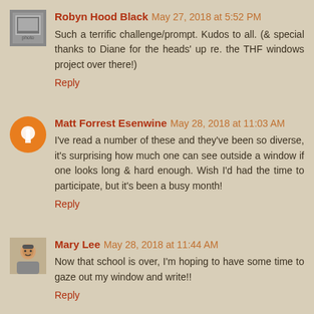Robyn Hood Black May 27, 2018 at 5:52 PM
Such a terrific challenge/prompt. Kudos to all. (& special thanks to Diane for the heads' up re. the THF windows project over there!)
Reply
Matt Forrest Esenwine May 28, 2018 at 11:03 AM
I've read a number of these and they've been so diverse, it's surprising how much one can see outside a window if one looks long & hard enough. Wish I'd had the time to participate, but it's been a busy month!
Reply
Mary Lee May 28, 2018 at 11:44 AM
Now that school is over, I'm hoping to have some time to gaze out my window and write!!
Reply